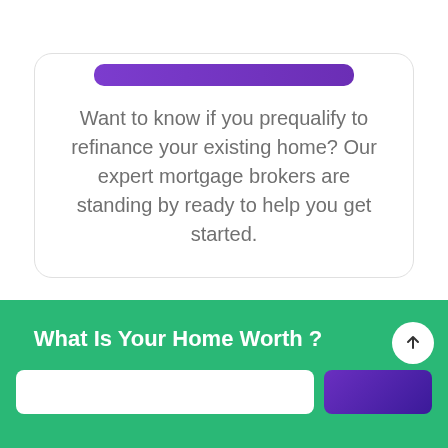Want to know if you prequalify to refinance your existing home? Our expert mortgage brokers are standing by ready to help you get started.
What Is Your Home Worth ?